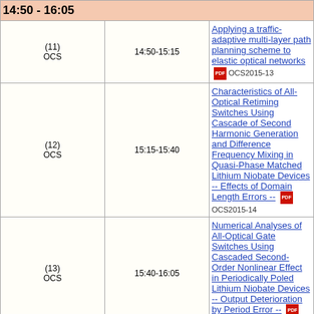14:50 - 16:05
| Session | Time | Title |
| --- | --- | --- |
| (11) OCS | 14:50-15:15 | Applying a traffic-adaptive multi-layer path planning scheme to elastic optical networks
OCS2015-13 |
| (12) OCS | 15:15-15:40 | Characteristics of All-Optical Retiming Switches Using Cascade of Second Harmonic Generation and Difference Frequency Mixing in Quasi-Phase Matched Lithium Niobate Devices -- Effects of Domain Length Errors --
OCS2015-14 |
| (13) OCS | 15:40-16:05 | Numerical Analyses of All-Optical Gate Switches Using Cascaded Second-Order Nonlinear Effect in Periodically Poled Lithium Niobate Devices -- Output Deterioration by Period Error --
OCS2015-15 |
|  | 16:05-16:15 | Break ( 10 min. ) |
Thu, Jun 18 PM
16:15 - 17:00
| Session | Time | Title |
| --- | --- | --- |
| (14) | 16:15-17:00 | [Invited Talk]
Optical Access Technologies for Efficient ... |